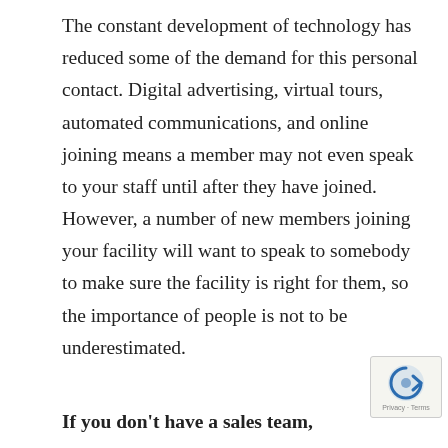The constant development of technology has reduced some of the demand for this personal contact. Digital advertising, virtual tours, automated communications, and online joining means a member may not even speak to your staff until after they have joined. However, a number of new members joining your facility will want to speak to somebody to make sure the facility is right for them, so the importance of people is not to be underestimated.
If you don't have a sales team,
[Figure (logo): reCAPTCHA badge with blue arrow icon and 'Privacy - Terms' text]